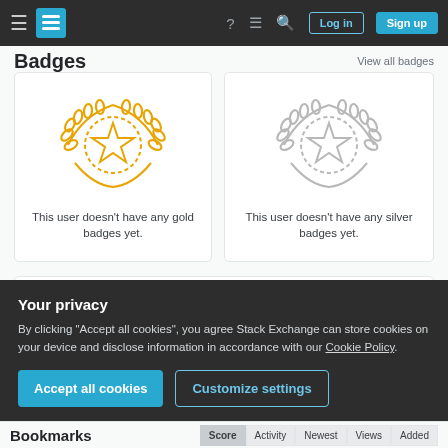Stack Exchange navigation bar with Log in and Sign up buttons
Badges
View all badges
This user doesn't have any gold badges yet.
This user doesn't have any silver badges yet.
[Figure (illustration): Bronze badge icon (wreath with star, bronze/copper color)]
2
Your privacy
By clicking "Accept all cookies", you agree Stack Exchange can store cookies on your device and disclose information in accordance with our Cookie Policy.
Accept all cookies
Customize settings
Bookmarks   Score   Activity   Newest   Views   Added